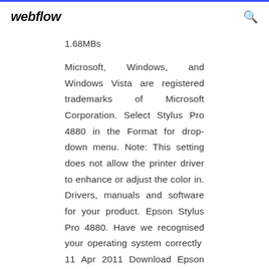webflow
1.68MBs
Microsoft, Windows, and Windows Vista are registered trademarks of Microsoft Corporation. Select Stylus Pro 4880 in the Format for drop-down menu. Note: This setting does not allow the printer driver to enhance or adjust the color in. Drivers, manuals and software for your product. Epson Stylus Pro 4880. Have we recognised your operating system correctly 11 Apr 2011 Download Epson Stylus Pro 4880 Printer Firmware BO2198 This file contains the Epson Stylus Pro 4880 Firmware Update version BO2198 for Windows